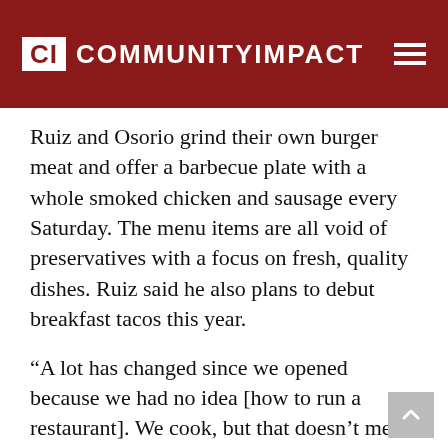CI COMMUNITYIMPACT
Ruiz and Osorio grind their own burger meat and offer a barbecue plate with a whole smoked chicken and sausage every Saturday. The menu items are all void of preservatives with a focus on fresh, quality dishes. Ruiz said he also plans to debut breakfast tacos this year.
“A lot has changed since we opened because we had no idea [how to run a restaurant]. We cook, but that doesn’t mean you know how to run a food business, and quality is big for us,” Ruiz said. “We had a hard time finding these items. Nothing fit our views of quality, but we tried it and eventually we came across a really good bread and then came across [how to make] … the tortillas better.”
Ruiz says he has plans for a night event in the C...